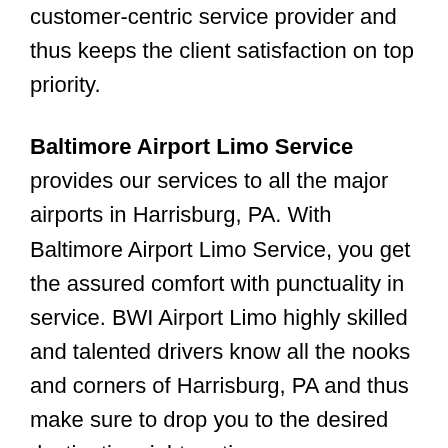customer-centric service provider and thus keeps the client satisfaction on top priority.
Baltimore Airport Limo Service provides our services to all the major airports in Harrisburg, PA. With Baltimore Airport Limo Service, you get the assured comfort with punctuality in service. BWI Airport Limo highly skilled and talented drivers know all the nooks and corners of Harrisburg, PA and thus make sure to drop you to the desired destination right on time.
If you have a significant flight to catch, the ground staffs of Limousine Service Baltimore keeps track of your flight timings and so prepares the pick-up schedule. Baltimore Limousine Service driver thus